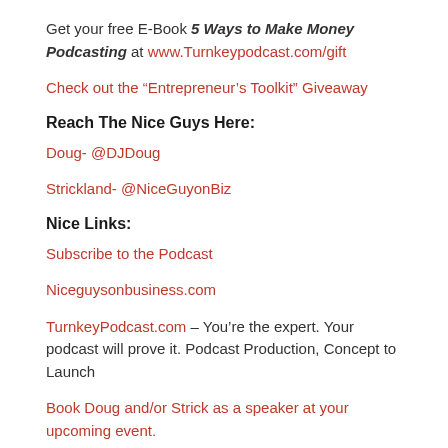Get your free E-Book 5 Ways to Make Money Podcasting at www.Turnkeypodcast.com/gift
Check out the “Entrepreneur’s Toolkit” Giveaway
Reach The Nice Guys Here:
Doug- @DJDoug
Strickland- @NiceGuyonBiz
Nice Links:
Subscribe to the Podcast
Niceguysonbusiness.com
TurnkeyPodcast.com – You’re the expert. Your podcast will prove it. Podcast Production, Concept to Launch
Book Doug and/or Strick as a speaker at your upcoming event.